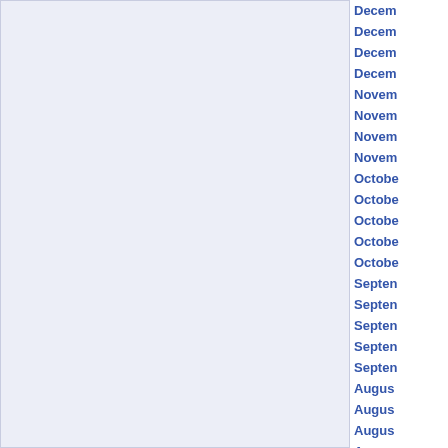December
December
December
December
November
November
November
November
October
October
October
October
October
September
September
September
September
September
August
August
August
August
July 20
July 20
July 20
July 20
June 2
June 2
June 2
June 2
May 20
May 20